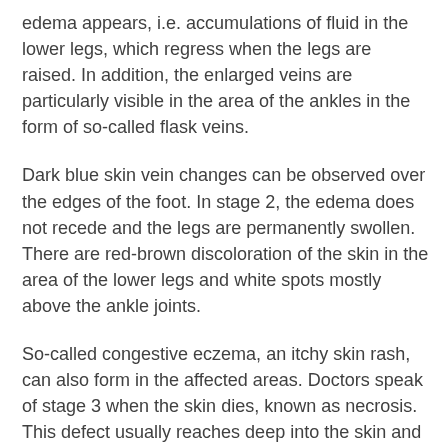edema appears, i.e. accumulations of fluid in the lower legs, which regress when the legs are raised. In addition, the enlarged veins are particularly visible in the area of the ankles in the form of so-called flask veins.
Dark blue skin vein changes can be observed over the edges of the foot. In stage 2, the edema does not recede and the legs are permanently swollen. There are red-brown discoloration of the skin in the area of the lower legs and white spots mostly above the ankle joints.
So-called congestive eczema, an itchy skin rash, can also form in the affected areas. Doctors speak of stage 3 when the skin dies, known as necrosis. This defect usually reaches deep into the skin and is very difficult to heal. The leg that is now open is called the leg ulcer.